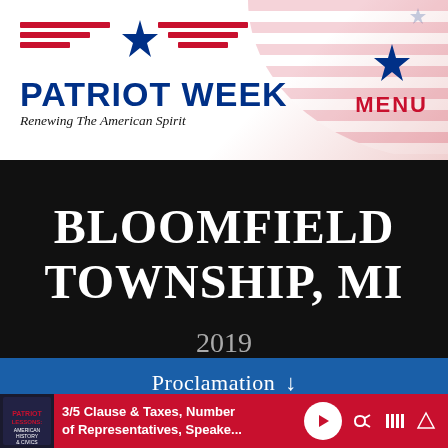[Figure (logo): Patriot Week logo with American flag stripes, blue star, text 'PATRIOT WEEK' and 'Renewing The American Spirit']
MENU
BLOOMFIELD TOWNSHIP, MI
2019
Proclamation ↓
3/5 Clause & Taxes, Number of Representatives, Speake...